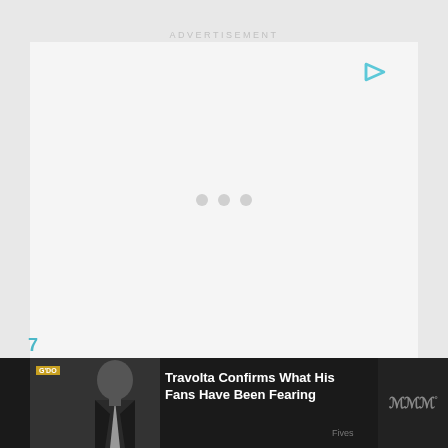ADVERTISEMENT
[Figure (screenshot): Advertisement placeholder area with light gray background, teal play button icon in upper right, and three gray loading dots in center]
7
[Figure (screenshot): Bottom notification bar showing thumbnail of man in suit with G'DO badge, headline text 'Travolta Confirms What His Fans Have Been Fearing', Fives label, and triple-W logo on right]